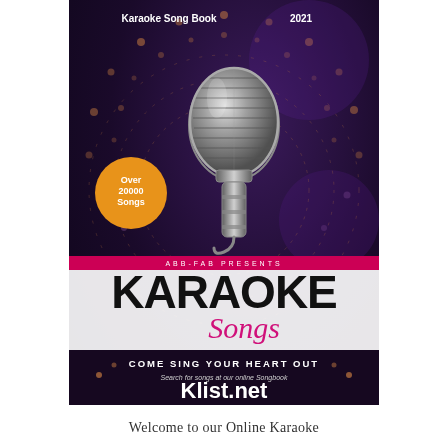[Figure (illustration): Karaoke Song Book 2021 cover with dark purple background, vintage silver microphone, decorative dot rings, orange badge reading 'Over 20000 Songs', pink presenter bar reading 'ABB-FAB PRESENTS', white banner with bold KARAOKE text and pink script 'Songs', and bottom section with 'COME SING YOUR HEART OUT' and Klist.net website]
Welcome to our Online Karaoke